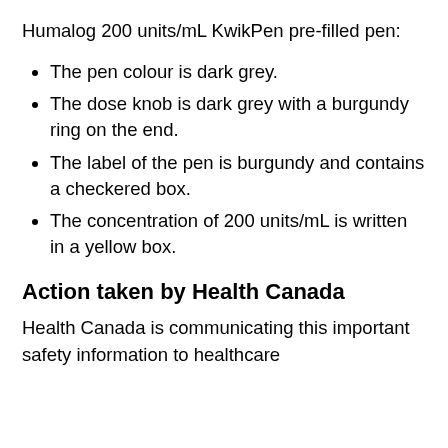Humalog 200 units/mL KwikPen pre-filled pen:
The pen colour is dark grey.
The dose knob is dark grey with a burgundy ring on the end.
The label of the pen is burgundy and contains a checkered box.
The concentration of 200 units/mL is written in a yellow box.
Action taken by Health Canada
Health Canada is communicating this important safety information to healthcare